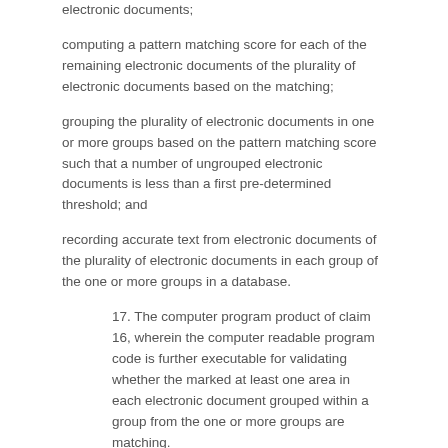electronic documents;
computing a pattern matching score for each of the remaining electronic documents of the plurality of electronic documents based on the matching;
grouping the plurality of electronic documents in one or more groups based on the pattern matching score such that a number of ungrouped electronic documents is less than a first pre-determined threshold; and
recording accurate text from electronic documents of the plurality of electronic documents in each group of the one or more groups in a database.
17. The computer program product of claim 16, wherein the computer readable program code is further executable for validating whether the marked at least one area in each electronic document grouped within a group from the one or more groups are matching.
18. The computer program product of claim 17, wherein the validating is performed by at least one of a remote worker or by applying one or more character recognition